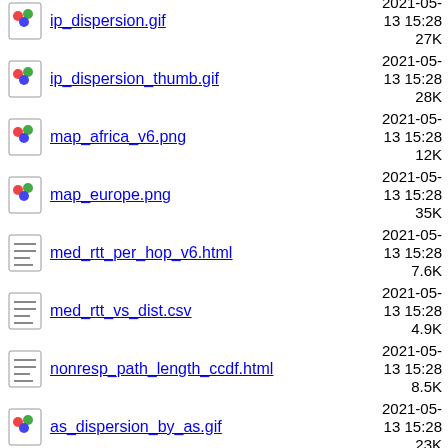ip_dispersion.gif  2021-05-13 15:28  27K
ip_dispersion_thumb.gif  2021-05-13 15:28  28K
map_africa_v6.png  2021-05-13 15:28  12K
map_europe.png  2021-05-13 15:28  35K
med_rtt_per_hop_v6.html  2021-05-13 15:28  7.6K
med_rtt_vs_dist.csv  2021-05-13 15:28  4.9K
nonresp_path_length_ccdf.html  2021-05-13 15:28  8.5K
as_dispersion_by_as.gif  2021-05-13 15:28  23K
as_dispersion_by_as_thumb.gif  2021-05-13 15:28  19K
as_dispersion_by_as_v6.csv  2021-05-13 15:28  202K
as_dispersion_by_as_v6.gif  2021-05-13 15:28  17K
as_dispersion_by_ip_thumb.gif  2021-05-13 15:28  55K